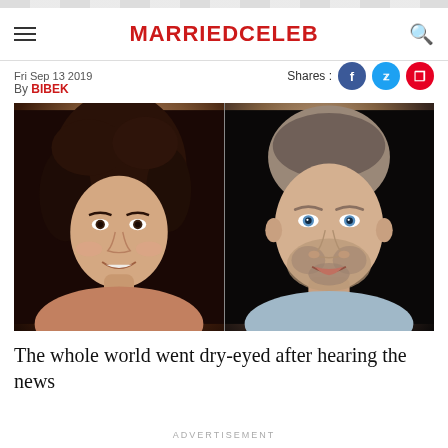MARRIEDCELEB
Fri Sep 13 2019
By BIBEK
[Figure (photo): Two side-by-side portrait photos: a young woman with dark curly hair smiling on the left, and a man with blue eyes and stubble smiling on the right, both against dark backgrounds.]
The whole world went dry-eyed after hearing the news
ADVERTISEMENT